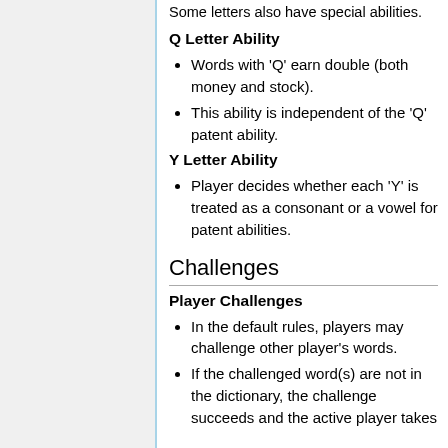Some letters also have special abilities.
Q Letter Ability
Words with 'Q' earn double (both money and stock).
This ability is independent of the 'Q' patent ability.
Y Letter Ability
Player decides whether each 'Y' is treated as a consonant or a vowel for patent abilities.
Challenges
Player Challenges
In the default rules, players may challenge other player's words.
If the challenged word(s) are not in the dictionary, the challenge succeeds and the active player takes